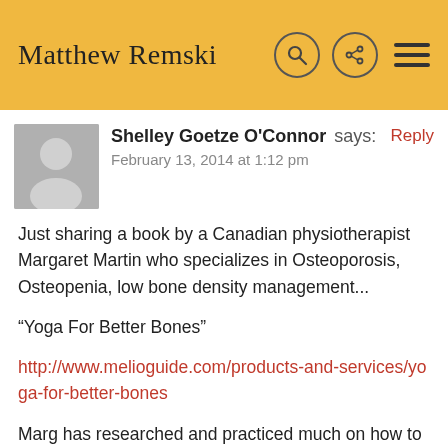Matthew Remski
Shelley Goetze O'Connor says:
February 13, 2014 at 1:12 pm

Just sharing a book by a Canadian physiotherapist Margaret Martin who specializes in Osteoporosis, Osteopenia, low bone density management...

“Yoga For Better Bones”

http://www.melioguide.com/products-and-services/yoga-for-better-bones

Marg has researched and practiced much on how to protect your bones when you have osteoporosis or osteopenia or low bone density while encouraging exercise including